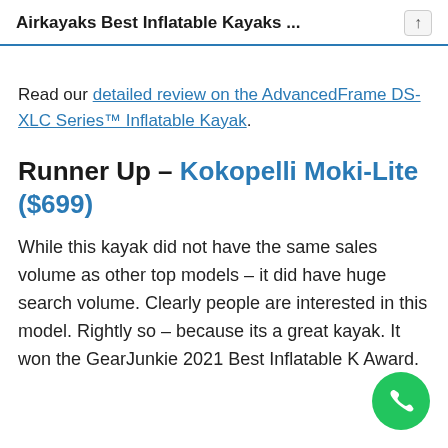Airkayaks Best Inflatable Kayaks ...
Read our detailed review on the AdvancedFrame DS-XLC Series™ Inflatable Kayak.
Runner Up – Kokopelli Moki-Lite ($699)
While this kayak did not have the same sales volume as other top models – it did have huge search volume. Clearly people are interested in this model. Rightly so – because its a great kayak. It won the GearJunkie 2021 Best Inflatable K Award.
[Figure (other): Green circular phone call button in lower-right corner]